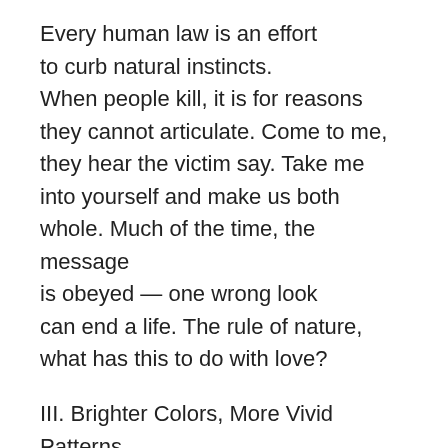Every human law is an effort to curb natural instincts. When people kill, it is for reasons they cannot articulate. Come to me, they hear the victim say. Take me into yourself and make us both whole. Much of the time, the message is obeyed — one wrong look can end a life. The rule of nature, what has this to do with love?
III. Brighter Colors, More Vivid Patterns
For scorpions, 25% of their diet consists of other, smaller scorpions. Frogs in South America will eat anything smaller than themselves… though sometimes